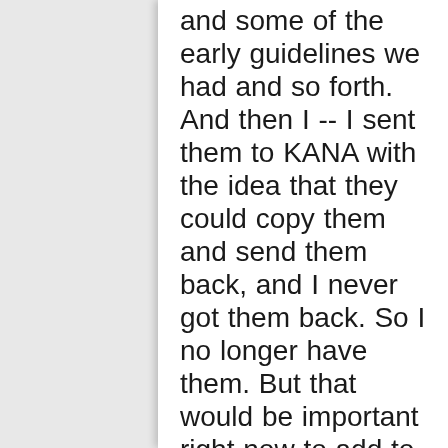and some of the early guidelines we had and so forth.  And then I -- I sent them to KANA with the idea that they could copy them and send them back, and I never got them back.  So I no longer have them.  But that would be important right now to add to what you're doing, as it was some -- some printed material about the